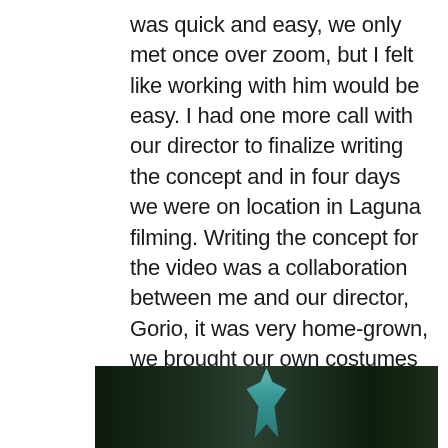was quick and easy, we only met once over zoom, but I felt like working with him would be easy. I had one more call with our director to finalize writing the concept and in four days we were on location in Laguna filming. Writing the concept for the video was a collaboration between me and our director, Gorio, it was very home-grown, we brought our own costumes and props, shot in my grandmother's home and wrapped up on set all in a day's work. The set was light, full of laughter, sweets, wine and stories. somehow, in a strange way… it felt like the Christmas I once knew… even if it was make believe.
[Figure (photo): Dark-toned outdoor photograph showing a lit figure or decoration against a dark green foliage background, appears to be a Christmas-themed image.]